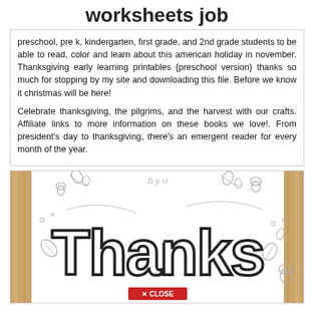worksheets job
preschool, pre k, kindergarten, first grade, and 2nd grade students to be able to read, color and learn about this american holiday in november. Thanksgiving early learning printables {preschool version} thanks so much for stopping by my site and downloading this file. Before we know it christmas will be here!
Celebrate thanksgiving, the pilgrims, and the harvest with our crafts. Affiliate links to more information on these books we love!. From president's day to thanksgiving, there's an emergent reader for every month of the year.
[Figure (illustration): A coloring-book style image showing the word 'Thanks' in large outlined block letters, decorated with small leaves, acorns, and vine doodles, framed with wooden borders on left and right sides. A red 'X CLOSE' button appears at the bottom center.]